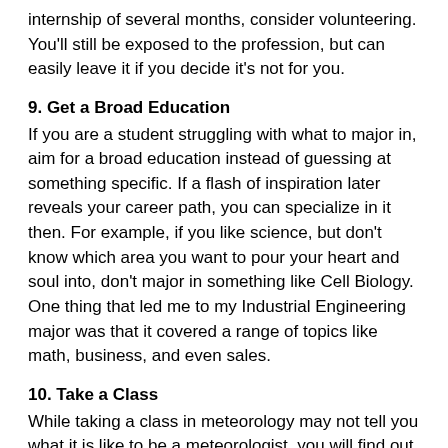internship of several months, consider volunteering. You'll still be exposed to the profession, but can easily leave it if you decide it's not for you.
9. Get a Broad Education
If you are a student struggling with what to major in, aim for a broad education instead of guessing at something specific. If a flash of inspiration later reveals your career path, you can specialize in it then. For example, if you like science, but don't know which area you want to pour your heart and soul into, don't major in something like Cell Biology. One thing that led me to my Industrial Engineering major was that it covered a range of topics like math, business, and even sales.
10. Take a Class
While taking a class in meteorology may not tell you what it is like to be a meteorologist, you will find out whether or not you enjoy the subject. If you think you